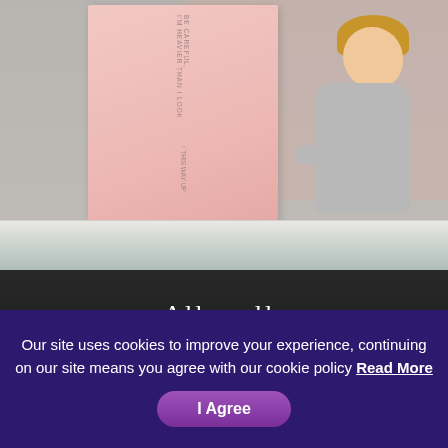[Figure (photo): A child leaning over an Allswell branded mattress with a large pink box stacked on top, product lifestyle photo]
Our site uses cookies to improve your experience, continuing on our site means you agree with our cookie policy Read More
I Agree